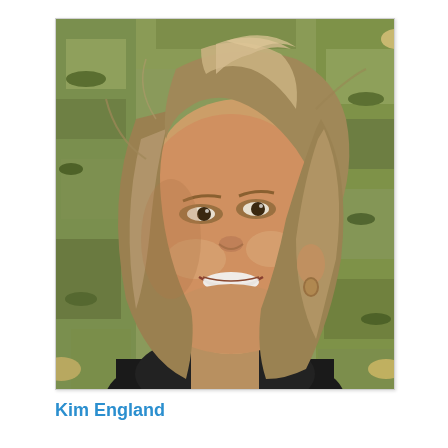[Figure (photo): Headshot photo of a woman with shoulder-length blonde highlighted hair, smiling, wearing a dark jacket, with grass in the background.]
Kim England